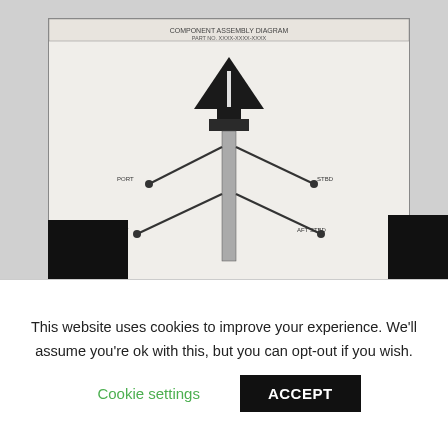[Figure (engineering-diagram): An engineering schematic diagram showing a mechanical component (possibly a sensor or fastener assembly) viewed from front. The diagram includes a triangular/arrow-shaped top element, a cylindrical body, and multiple arms/brackets extending outward with labels. Below the main diagram is a bordered section with text annotations and part information. The image is blurred/low resolution.]
This website uses cookies to improve your experience. We'll assume you're ok with this, but you can opt-out if you wish.
Cookie settings
ACCEPT